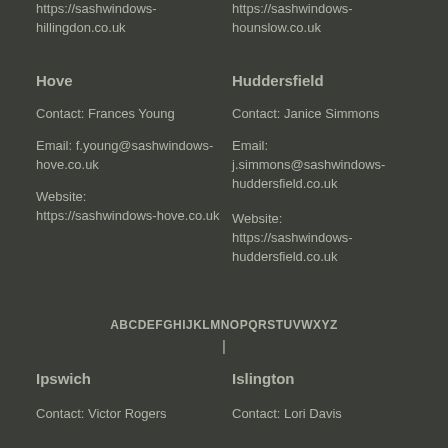https://sashwindows-hillingdon.co.uk
https://sashwindows-hounslow.co.uk
Hove
Contact: Frances Young
Email: f.young@sashwindows-hove.co.uk
Website: https://sashwindows-hove.co.uk
Huddersfield
Contact: Janice Simmons
Email: j.simmons@sashwindows-huddersfield.co.uk
Website: https://sashwindows-huddersfield.co.uk
ABCDEFGHIJKLMNOPQRSTUVWXYZ
Ipswich
Contact: Victor Rogers
Islington
Contact: Lori Davis